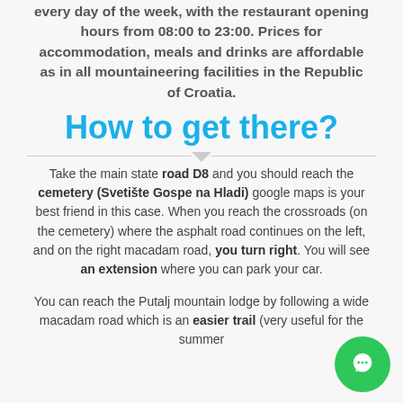every day of the week, with the restaurant opening hours from 08:00 to 23:00. Prices for accommodation, meals and drinks are affordable as in all mountaineering facilities in the Republic of Croatia.
How to get there?
Take the main state road D8 and you should reach the cemetery (Svetište Gospe na Hladi) google maps is your best friend in this case. When you reach the crossroads (on the cemetery) where the asphalt road continues on the left, and on the right macadam road, you turn right. You will see an extension where you can park your car.
You can reach the Putalj mountain lodge by following a wide macadam road which is an easier trail (very useful for the summer